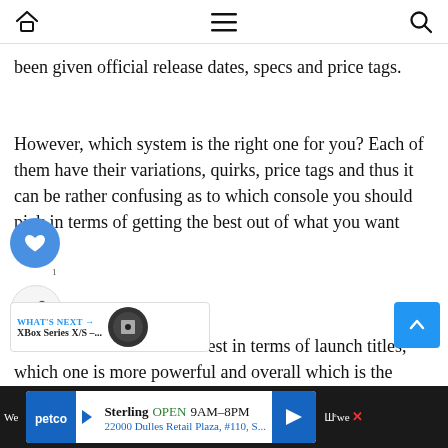Navigation bar with home, menu, and search icons
been given official release dates, specs and price tags.
However, which system is the right one for you? Each of them have their variations, quirks, price tags and thus it can be rather confusing as to which console you should pick in terms of getting the best out of what you want
Which console offers the best in terms of launch titles, which one is more powerful and overall which is the better purchase overall?
[Figure (screenshot): Floating like button (blue heart icon), share button, and scroll-to-top blue button]
[Figure (infographic): What's Next widget showing XBox Series X/S promotion with image]
[Figure (screenshot): Petco advertisement banner: Sterling OPEN 9AM-8PM, 22000 Dulles Retail Plaza, #110, S...]